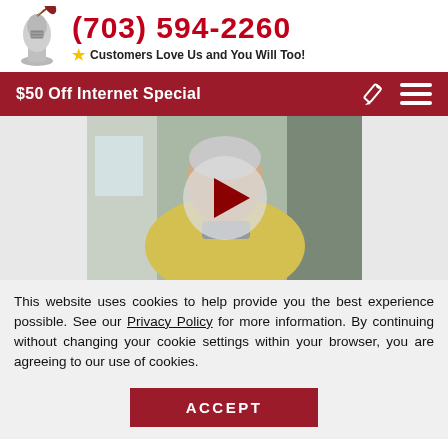(703) 594-2260
Customers Love Us and You Will Too!
$50 Off Internet Special
[Figure (screenshot): Video thumbnail showing an elderly woman in a yellow sweater, with a play button overlay indicating a video testimonial.]
This website uses cookies to help provide you the best experience possible. See our Privacy Policy for more information. By continuing without changing your cookie settings within your browser, you are agreeing to our use of cookies.
ACCEPT